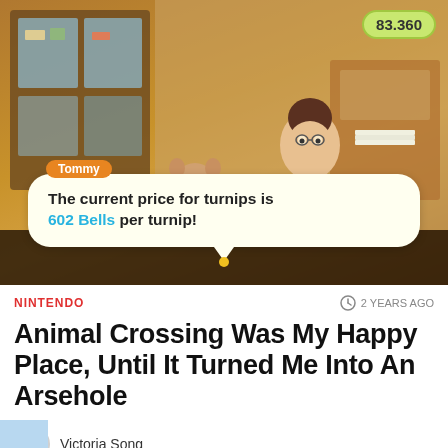[Figure (screenshot): Animal Crossing: New Horizons gameplay screenshot showing Tommy the raccoon character speaking to a player character in Nook's Cranny shop. Dialog bubble reads: 'The current price for turnips is 602 Bells per turnip!' A bell currency counter shows 83,360 in the top right corner.]
NINTENDO
2 YEARS AGO
Animal Crossing Was My Happy Place, Until It Turned Me Into An Arsehole
Victoria Song
[Figure (advertisement): Kotaku advertisement banner with pink/red background and diagonal stripes. Left side shows Kotaku logo, right side shows 'CLICK HERE' button.]